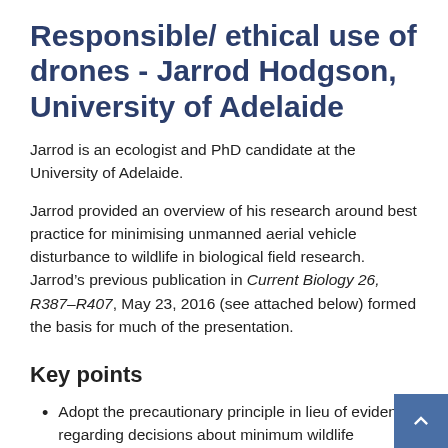Responsible/ ethical use of drones - Jarrod Hodgson, University of Adelaide
Jarrod is an ecologist and PhD candidate at the University of Adelaide.
Jarrod provided an overview of his research around best practice for minimising unmanned aerial vehicle disturbance to wildlife in biological field research. Jarrod’s previous publication in Current Biology 26, R387–R407, May 23, 2016 (see attached below) formed the basis for much of the presentation.
Key points
Adopt the precautionary principle in lieu of evidence regarding decisions about minimum wildlife